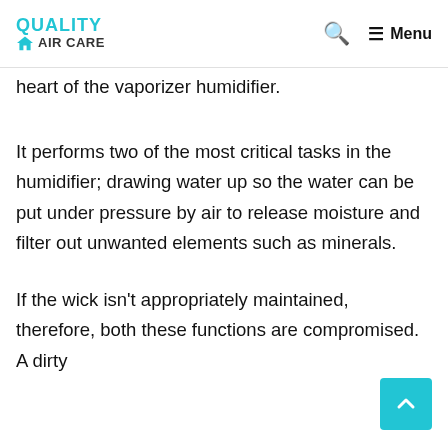QUALITY AIR CARE
heart of the vaporizer humidifier.
It performs two of the most critical tasks in the humidifier; drawing water up so the water can be put under pressure by air to release moisture and filter out unwanted elements such as minerals.
If the wick isn’t appropriately maintained, therefore, both these functions are compromised. A dirty